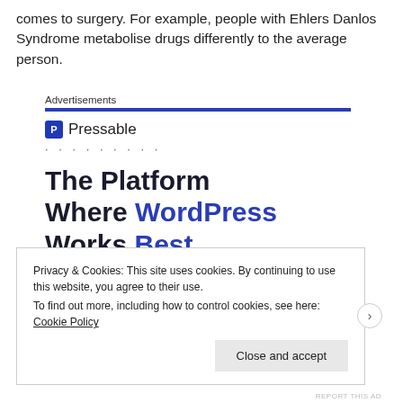comes to surgery. For example, people with Ehlers Danlos Syndrome metabolise drugs differently to the average person.
[Figure (other): Pressable advertisement banner: 'The Platform Where WordPress Works Best' with a blue bar under 'Advertisements' label, Pressable logo, dots row, and a SEE PRICING button.]
Privacy & Cookies: This site uses cookies. By continuing to use this website, you agree to their use.
To find out more, including how to control cookies, see here: Cookie Policy
Close and accept